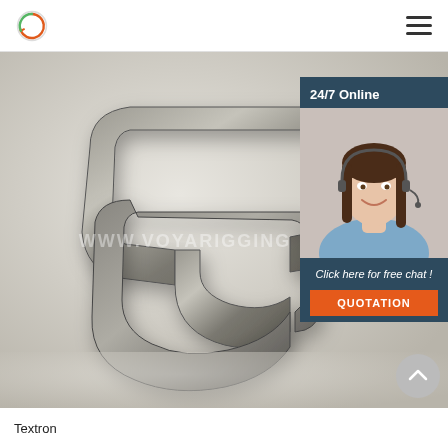Voya Rigging logo and navigation menu
[Figure (photo): Close-up photo of a metal rigging clip or wire rope thimble on a white background, with watermark text WWW.VOYARIGGING overlaid. In the top-right corner, a chat widget panel shows a customer support agent (woman with headset) and a '24/7 Online' label, plus a 'Click here for free chat!' message and an orange 'QUOTATION' button.]
Textron